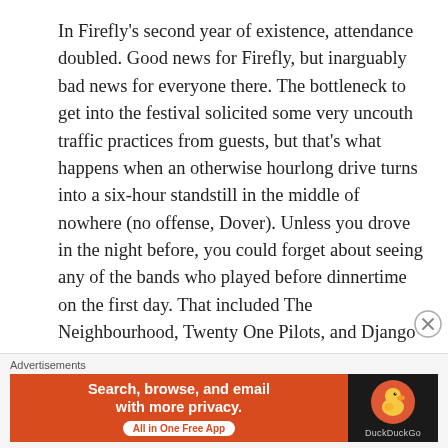In Firefly's second year of existence, attendance doubled. Good news for Firefly, but inarguably bad news for everyone there. The bottleneck to get into the festival solicited some very uncouth traffic practices from guests, but that's what happens when an otherwise hourlong drive turns into a six-hour standstill in the middle of nowhere (no offense, Dover). Unless you drove in the night before, you could forget about seeing any of the bands who played before dinnertime on the first day. That included The Neighbourhood, Twenty One Pilots, and Django Django. For shame.
Advertisements — Search, browse, and email with more privacy. All in One Free App — DuckDuckGo